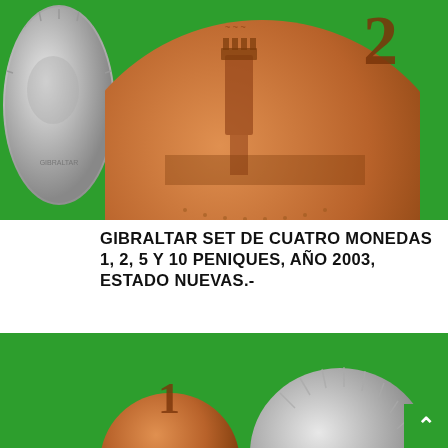[Figure (photo): Photo of Gibraltar coins on green background: a silver coin on the left and a large copper 2-pence coin on the right showing a lighthouse/Tower of Hercules design]
GIBRALTAR SET DE CUATRO MONEDAS 1, 2, 5 Y 10 PENIQUES, AÑO 2003, ESTADO NUEVAS.-
LOGUEARSE PARA VER PRECIOS – CLIC AQUÍ
[Figure (photo): Photo of additional Gibraltar coins on green background, partially cropped at the bottom of the page]